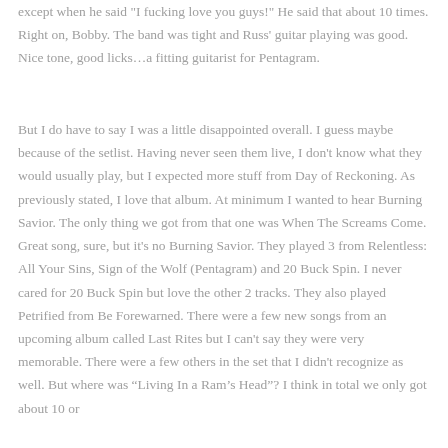except when he said "I fucking love you guys!"  He said that about 10 times.  Right on, Bobby.  The band was tight and Russ' guitar playing was good.  Nice tone, good licks…a fitting guitarist for Pentagram.
But I do have to say I was a little disappointed overall.  I guess maybe because of the setlist.  Having never seen them live, I don't know what they would usually play, but I expected more stuff from Day of Reckoning.  As previously stated, I love that album.  At minimum I wanted to hear Burning Savior.  The only thing we got from that one was When The Screams Come.  Great song, sure, but it's no Burning Savior.  They played 3 from Relentless:  All Your Sins, Sign of the Wolf (Pentagram) and 20 Buck Spin.  I never cared for 20 Buck Spin but love the other 2 tracks.  They also played Petrified from Be Forewarned.  There were a few new songs from an upcoming album called Last Rites but I can't say they were very memorable.  There were a few others in the set that I didn't recognize as well.  But where was “Living In a Ram's Head”?  I think in total we only got about 10 or